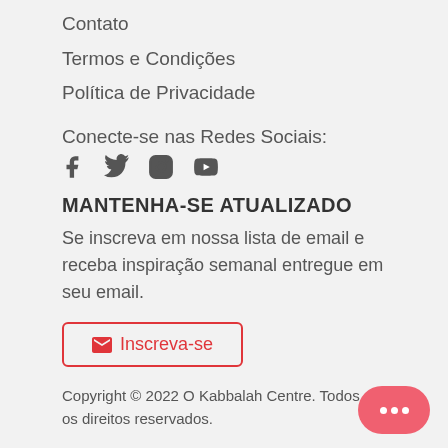Contato
Termos e Condições
Política de Privacidade
Conecte-se nas Redes Sociais:
[Figure (illustration): Social media icons: Facebook, Twitter, Instagram, YouTube]
MANTENHA-SE ATUALIZADO
Se inscreva em nossa lista de email e receba inspiração semanal entregue em seu email.
Inscreva-se
Copyright © 2022 O Kabbalah Centre. Todos os direitos reservados.